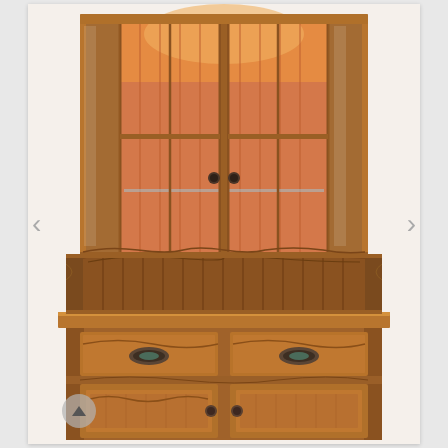[Figure (photo): A tall wooden corner hutch/china cabinet with two sections. The upper section has glass-paneled doors with interior lighting showing warm wood grain backing and glass shelves. Below the upper cabinet is an open display shelf area with decorative curved wooden trim. The lower section features two drawers with dark oval metal hardware pulls, and two cabinet doors below the drawers. The piece is crafted in a Mission/Arts & Crafts style from medium-to-dark oak or similar hardwood with visible wood grain texture. Navigation arrows appear on left and right sides of the image, and a scroll-up button is visible at the bottom left.]